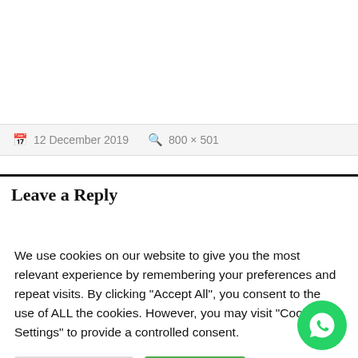12 December 2019   800 × 501
Leave a Reply
We use cookies on our website to give you the most relevant experience by remembering your preferences and repeat visits. By clicking "Accept All", you consent to the use of ALL the cookies. However, you may visit "Cookie Settings" to provide a controlled consent.
Cookie Settings   Accept All